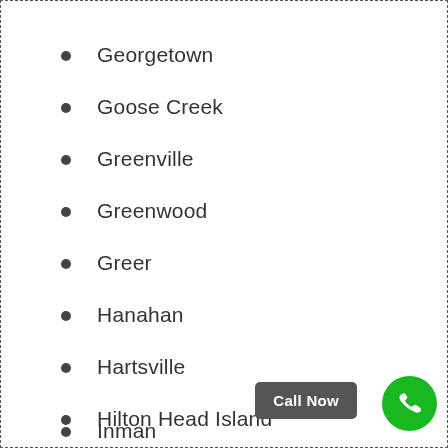Georgetown
Goose Creek
Greenville
Greenwood
Greer
Hanahan
Hartsville
Hilton Head Island
Hopkins
Inman